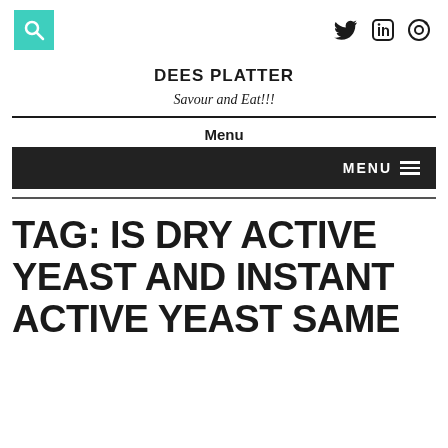[Figure (logo): Teal/turquoise search icon box in top left, social media icons (Twitter, Facebook, camera/share) in top right]
DEES PLATTER
Savour and Eat!!!
Menu
[Figure (screenshot): Dark navigation bar with MENU text and hamburger icon on the right]
TAG: IS DRY ACTIVE YEAST AND INSTANT ACTIVE YEAST SAME